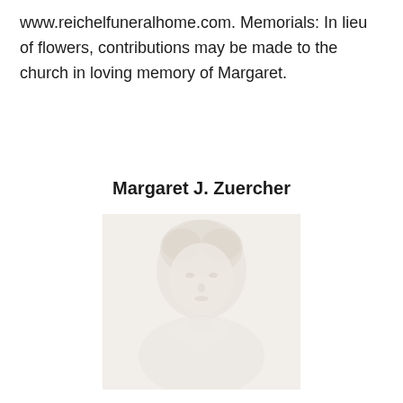www.reichelfuneralhome.com. Memorials: In lieu of flowers, contributions may be made to the church in loving memory of Margaret.
Margaret J. Zuercher
[Figure (photo): A faded/light portrait photo of Margaret J. Zuercher, an elderly woman with short curly hair, facing slightly to the side.]
Margaret J. Zuercher, 82 of Moore Township, passed away